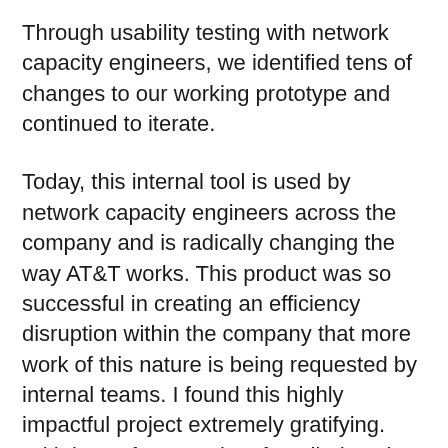Through usability testing with network capacity engineers, we identified tens of changes to our working prototype and continued to iterate.
Today, this internal tool is used by network capacity engineers across the company and is radically changing the way AT&T works. This product was so successful in creating an efficiency disruption within the company that more work of this nature is being requested by internal teams. I found this highly impactful project extremely gratifying. With just a few months of applied work, we were able to disrupt an internal process to save costs and significantly change how the